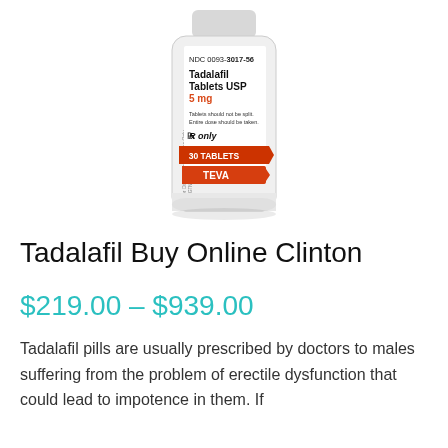[Figure (photo): White pill bottle labeled Tadalafil Tablets USP 5 mg, NDC 0093-3017-56, 30 Tablets, Teva brand, with orange/red label bands at bottom]
Tadalafil Buy Online Clinton
$219.00 – $939.00
Tadalafil pills are usually prescribed by doctors to males suffering from the problem of erectile dysfunction that could lead to impotence in them. If